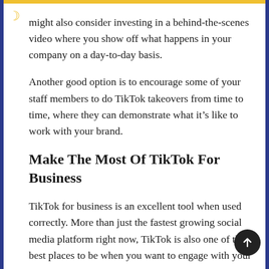might also consider investing in a behind-the-scenes video where you show off what happens in your company on a day-to-day basis.
Another good option is to encourage some of your staff members to do TikTok takeovers from time to time, where they can demonstrate what it's like to work with your brand.
Make The Most Of TikTok For Business
TikTok for business is an excellent tool when used correctly. More than just the fastest growing social media platform right now, TikTok is also one of the best places to be when you want to engage with your